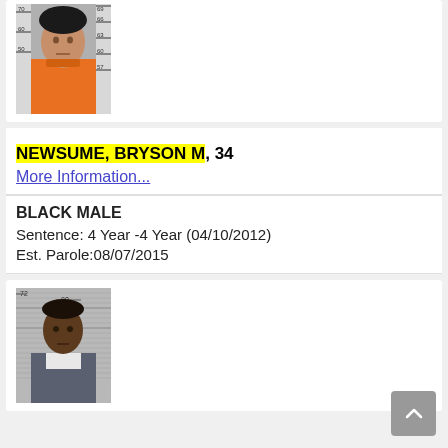[Figure (photo): Mugshot of a female inmate wearing orange prison jumpsuit, in front of height measurement chart showing marks from 57 to 89 inches]
NEWSUME, BRYSON M, 34
More Information...
BLACK MALE
Sentence: 4 Year -4 Year (04/10/2012)
Est. Parole:08/07/2015
[Figure (photo): Mugshot of a male inmate wearing gray prison clothing, in front of height measurement chart showing marks at 72 and 80]